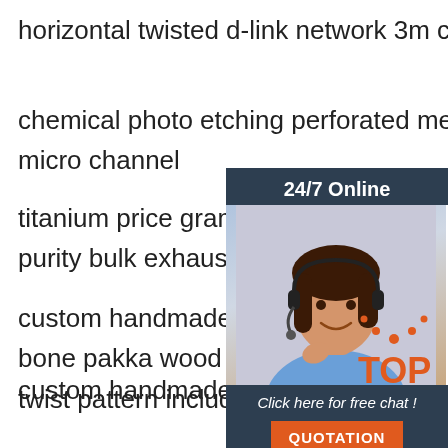horizontal twisted d-link network 3m cat6 lan cable
chemical photo etching perforated metal sheet stainless steel micro channel
titanium price gram ti-pure titanium purity bulk exhaust pipe
custom handmade damascus sword bone pakka wood spacers oal 25 in twist pattern including leather sheath
custom handmade damascus steel hunting skinner knife micarta handle ksk-517
hobbyworker 1 meter width 7mm stainless steel gold paperclip flat oval cable chain diy necklace bracelet making findings
[Figure (other): 24/7 online chat widget with a woman wearing a headset, a 'Click here for free chat!' button, and an orange QUOTATION button]
[Figure (other): Orange TOP badge/logo with dotted arc design]